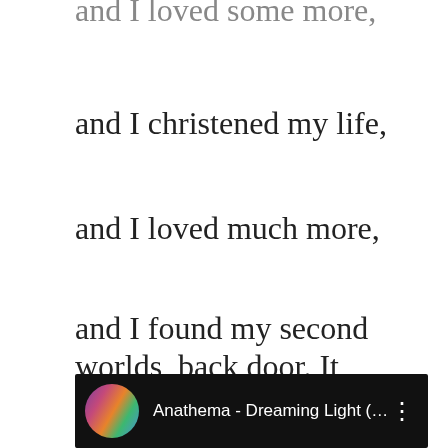and I loved some more,
and I christened my life,
and I loved much more,
and I found my second worlds, back door. It became my first world’s core. In my first world’s world. -05.10.2019-דָנִיאֵל
[Figure (screenshot): YouTube video bar showing 'Anathema - Dreaming Light (fro...' with circular colorful thumbnail and three-dot menu icon on dark background]